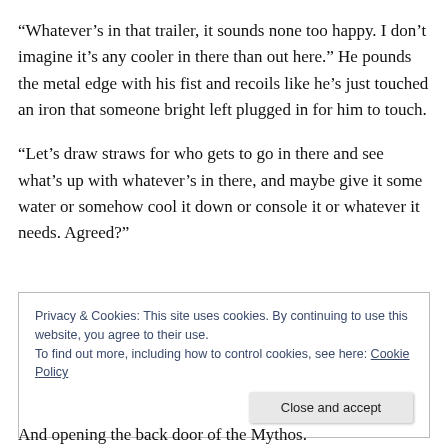“Whatever’s in that trailer, it sounds none too happy. I don’t imagine it’s any cooler in there than out here.” He pounds the metal edge with his fist and recoils like he’s just touched an iron that someone bright left plugged in for him to touch.
“Let’s draw straws for who gets to go in there and see what’s up with whatever’s in there, and maybe give it some water or somehow cool it down or console it or whatever it needs. Agreed?”
Privacy & Cookies: This site uses cookies. By continuing to use this website, you agree to their use.
To find out more, including how to control cookies, see here: Cookie Policy
And opening the back door of the Mythos.